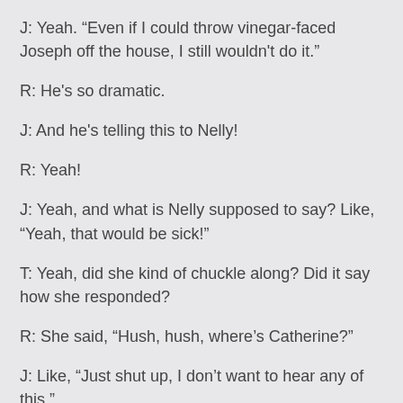J: Yeah. “Even if I could throw vinegar-faced Joseph off the house, I still wouldn't do it.”
R: He's so dramatic.
J: And he's telling this to Nelly!
R: Yeah!
J: Yeah, and what is Nelly supposed to say? Like, “Yeah, that would be sick!”
T: Yeah, did she kind of chuckle along? Did it say how she responded?
R: She said, “Hush, hush, where’s Catherine?”
J: Like, “Just shut up, I don’t want to hear any of this.”
R: “Quit talking about painting the house with this guy’s blood. You’re ruining my plausible deniability.”